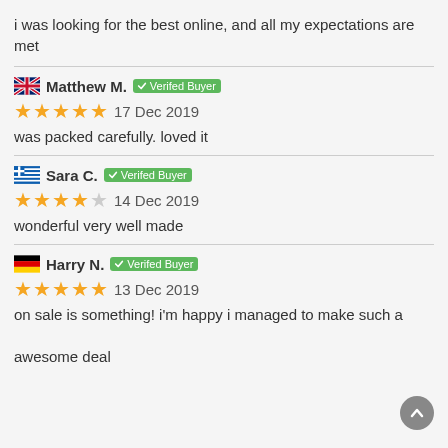i was looking for the best online, and all my expectations are met
Matthew M. — Verifed Buyer
★★★★★ 17 Dec 2019
was packed carefully. loved it
Sara C. — Verifed Buyer
★★★★☆ 14 Dec 2019
wonderful very well made
Harry N. — Verifed Buyer
★★★★★ 13 Dec 2019
on sale is something! i'm happy i managed to make such a awesome deal